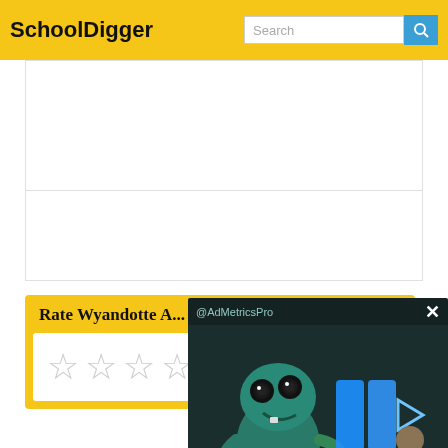SchoolDigger
Rate Wyandotte A...
[Figure (screenshot): Ad overlay with animated character (@AdMetricsPro) and blue play/forward icons on dark background, with mute button and close (X) button]